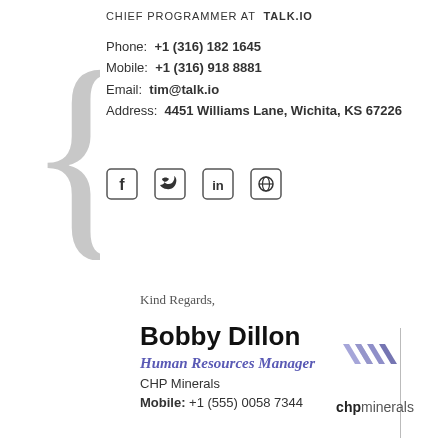[Figure (illustration): Large decorative grey curly brace symbol on the left side]
CHIEF PROGRAMMER AT TALK.IO
Phone: +1 (316) 182 1645
Mobile: +1 (316) 918 8881
Email: tim@talk.io
Address: 4451 Williams Lane, Wichita, KS 67226
[Figure (illustration): Four social media icon boxes: Facebook (f), Twitter bird, LinkedIn (in), Globe/website icon]
Kind Regards,
Bobby Dillon
Human Resources Manager
CHP Minerals
Mobile: +1 (555) 0058 7344
[Figure (logo): CHP Minerals logo with stylized chevron/arrow marks in blue-grey and text 'chpminerals']